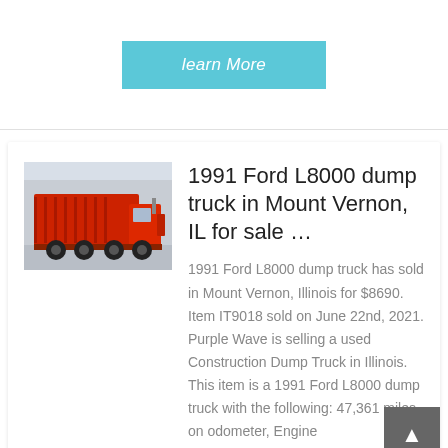learn More
[Figure (photo): Red dump truck (Ford L8000) parked on pavement with a building in the background]
1991 Ford L8000 dump truck in Mount Vernon, IL for sale …
1991 Ford L8000 dump truck has sold in Mount Vernon, Illinois for $8690. Item IT9018 sold on June 22nd, 2021. Purple Wave is selling a used Construction Dump Truck in Illinois. This item is a 1991 Ford L8000 dump truck with the following: 47,361 miles on odometer, Engine